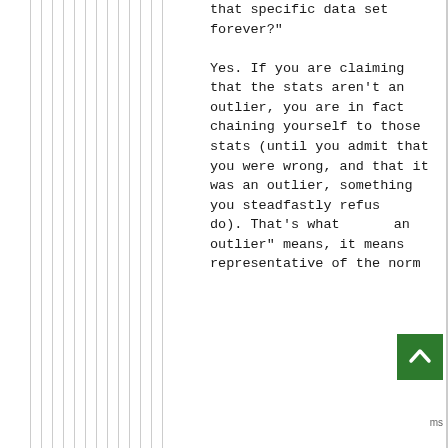that specific data set forever?"

Yes. If you are claiming that the stats aren't an outlier, you are in fact chaining yourself to those stats (until you admit that you were wrong, and that it was an outlier, something you steadfastly refuse to do). That's what "an outlier" means, it means representative of the norm